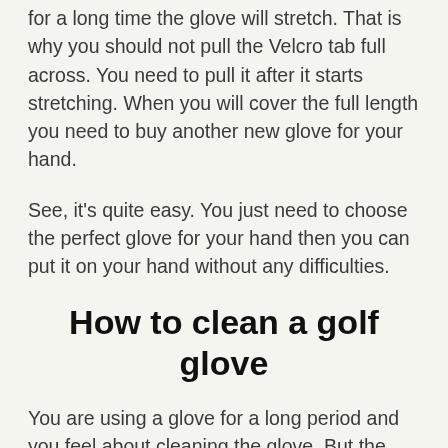for a long time the glove will stretch. That is why you should not pull the Velcro tab full across. You need to pull it after it starts stretching. When you will cover the full length you need to buy another new glove for your hand.
See, it's quite easy. You just need to choose the perfect glove for your hand then you can put it on your hand without any difficulties.
How to clean a golf glove
You are using a glove for a long period and you feel about cleaning the glove. But the problem is you don't know the appropriate